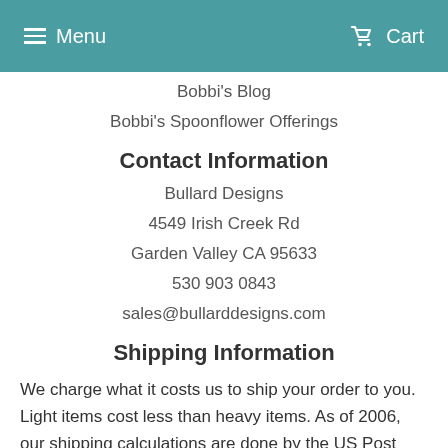Menu  Cart
Bobbi's Blog
Bobbi's Spoonflower Offerings
Contact Information
Bullard Designs
4549 Irish Creek Rd
Garden Valley CA 95633
530 903 0843
sales@bullarddesigns.com
Shipping Information
We charge what it costs us to ship your order to you. Light items cost less than heavy items. As of 2006, our shipping calculations are done by the US Post Office through our web site. We take the